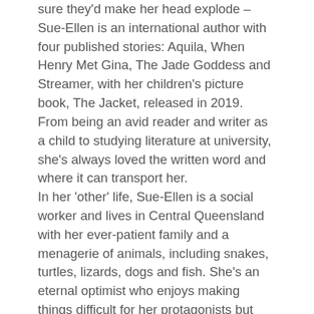sure they'd make her head explode – Sue-Ellen is an international author with four published stories: Aquila, When Henry Met Gina, The Jade Goddess and Streamer, with her children's picture book, The Jacket, released in 2019. From being an avid reader and writer as a child to studying literature at university, she's always loved the written word and where it can transport her. In her 'other' life, Sue-Ellen is a social worker and lives in Central Queensland with her ever-patient family and a menagerie of animals, including snakes, turtles, lizards, dogs and fish. She's an eternal optimist who enjoys making things difficult for her protagonists but loves a satisfying ending.